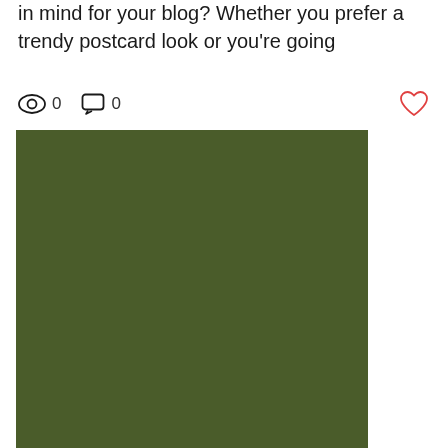in mind for your blog? Whether you prefer a trendy postcard look or you're going
[Figure (other): Interaction bar showing eye/views icon with count 0, comment icon with count 0, and a heart/like icon on the right]
[Figure (photo): Large solid dark olive/army green colored rectangle image placeholder]